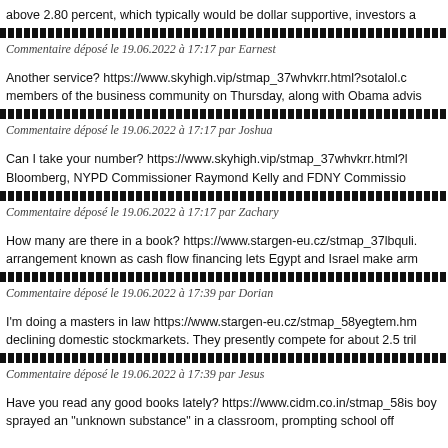above 2.80 percent, which typically would be dollar supportive, investors a
Commentaire déposé le 19.06.2022 à 17:17 par Earnest
Another service? https://www.skyhigh.vip/stmap_37whvkrr.html?sotalol.c members of the business community on Thursday, along with Obama advis
Commentaire déposé le 19.06.2022 à 17:17 par Joshua
Can I take your number? https://www.skyhigh.vip/stmap_37whvkrr.html?l Bloomberg, NYPD Commissioner Raymond Kelly and FDNY Commissio
Commentaire déposé le 19.06.2022 à 17:17 par Zachary
How many are there in a book? https://www.stargen-eu.cz/stmap_37lbquli. arrangement known as cash flow financing lets Egypt and Israel make arm
Commentaire déposé le 19.06.2022 à 17:39 par Dorian
I'm doing a masters in law https://www.stargen-eu.cz/stmap_58yegtem.hm declining domestic stockmarkets. They presently compete for about 2.5 tril
Commentaire déposé le 19.06.2022 à 17:39 par Jesus
Have you read any good books lately? https://www.cidm.co.in/stmap_58is boy sprayed an "unknown substance" in a classroom, prompting school off